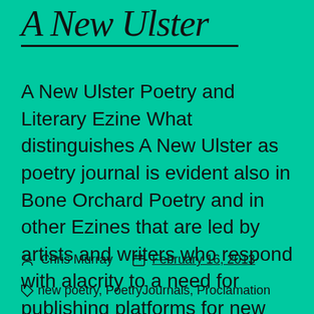A New Ulster
A New Ulster Poetry and Literary Ezine What distinguishes A New Ulster as poetry journal is evident also in Bone Orchard Poetry and in other Ezines that are led by artists and writers who respond with alacrity to a need for publishing platforms for new and established writers. When I started this blog  five years […]
Chris Murray  February 16, 2013
new poetry, PoetryJournals, Proclamation